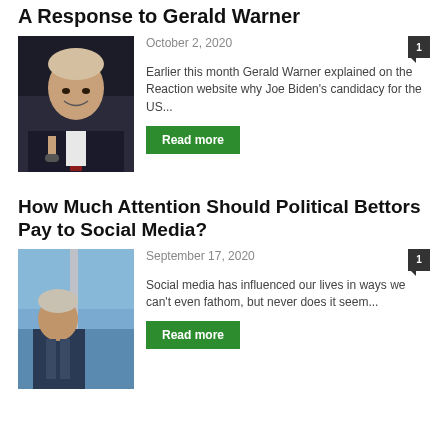A Response to Gerald Warner
October 2, 2020
[Figure (photo): Photo of Joe Biden holding a microphone, wearing a dark suit]
Earlier this month Gerald Warner explained on the Reaction website why Joe Biden's candidacy for the US...
Read more
How Much Attention Should Political Bettors Pay to Social Media?
September 17, 2020
[Figure (photo): Photo of a man in a suit outdoors with a blue sky background]
Social media has influenced our lives in ways we can't even fathom, but never does it seem...
Read more